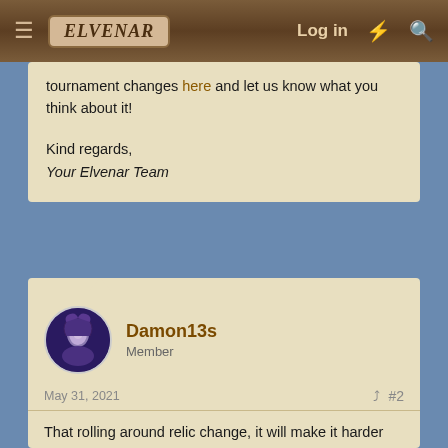Elvenar | Log in
tournament changes here and let us know what you think about it!
Kind regards,
Your Elvenar Team
Damon13s
Member
May 31, 2021 #2
That rolling around relic change, it will make it harder from now on players at first chapters to raise up the relics of their boosted goods. Till now we're expecting the tournament of the specific relic type to max out as possible 'd be the boosted relics, now we gonna get one of each in a rolling way... which will make much longer the time for us to get our boosted relics up.